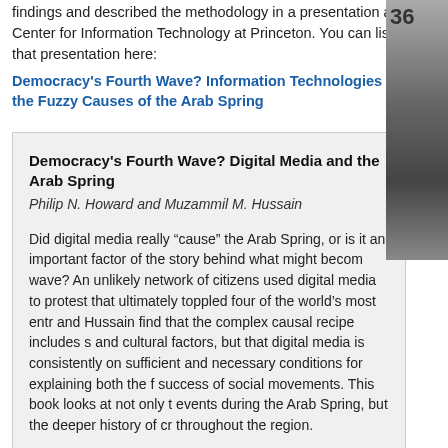findings and described the methodology in a presentation at the Center for Information Technology at Princeton. You can listen to that presentation here:
Democracy's Fourth Wave? Information Technologies and the Fuzzy Causes of the Arab Spring
Democracy's Fourth Wave? Digital Media and the Arab Spring
Philip N. Howard and Muzammil M. Hussain
Did digital media really “cause” the Arab Spring, or is it an important factor of the story behind what might become wave? An unlikely network of citizens used digital media to protest that ultimately toppled four of the world’s most entre and Hussain find that the complex causal recipe includes s and cultural factors, but that digital media is consistently on sufficient and necessary conditions for explaining both the f success of social movements. This book looks at not only th events during the Arab Spring, but the deeper history of cre throughout the region.